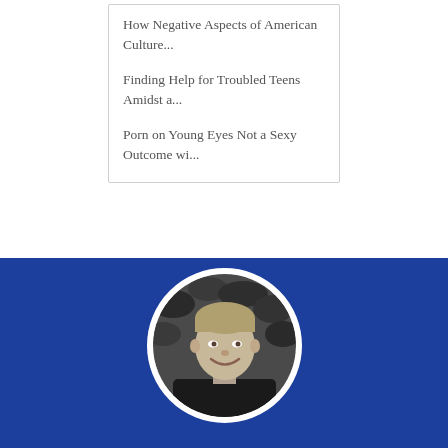How Negative Aspects of American Culture...
Finding Help for Troubled Teens Amidst a...
Porn on Young Eyes Not a Sexy Outcome wi...
[Figure (photo): Black and white circular portrait photo of a middle-aged man smiling, set against a blue background with a white circular border]